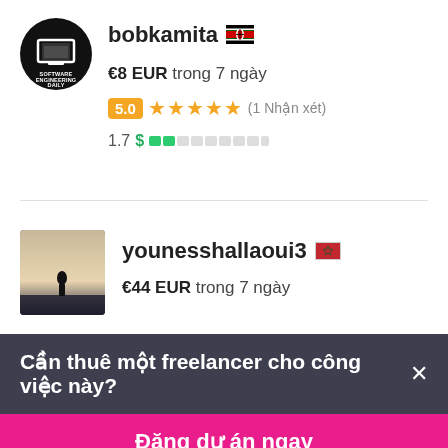[Figure (logo): Software Engineering Daily circular logo with laptop/monitor icon in black circle]
bobkamita 🇰🇪
€8 EUR trong 7 ngày
5.0 ★★★★★ (1 Nhận xét)
1.7 $ ██░░░░░░░░
[Figure (photo): Small square profile photo showing silhouette of person against bright sky/water background]
younesshallaoui3 🇲🇦
€44 EUR trong 7 ngày
Cần thuê một freelancer cho công việc này? ×
Đăng dự án ngay